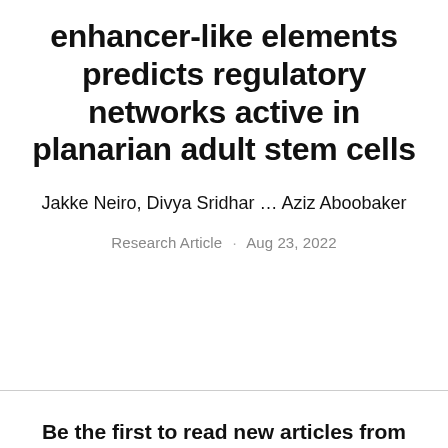enhancer-like elements predicts regulatory networks active in planarian adult stem cells
Jakke Neiro, Divya Sridhar … Aziz Aboobaker
Research Article · Aug 23, 2022
Be the first to read new articles from